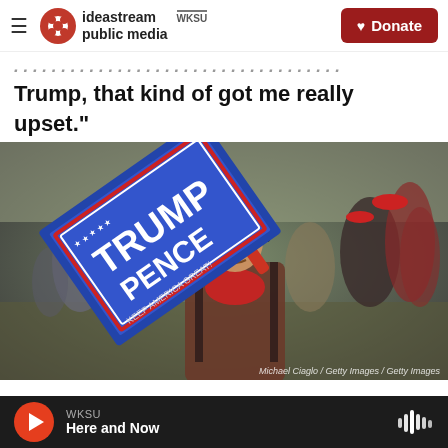ideastream public media WKSU | Donate
...y...p...Trump, that kind of got me really upset."
[Figure (photo): Man holding a Trump Pence campaign sign at a rally, wearing a Trump hat and red bandana. Crowd in background.]
Michael Ciaglo / Getty Images / Getty Images
WKSU Here and Now